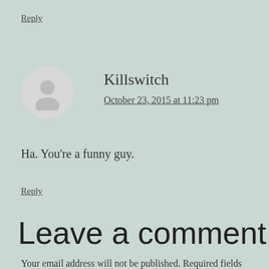Reply
[Figure (illustration): Generic user avatar — gray circle with a white silhouette of a person]
Killswitch
October 23, 2015 at 11:23 pm
Ha. You’re a funny guy.
Reply
Leave a comment
Your email address will not be published. Required fields